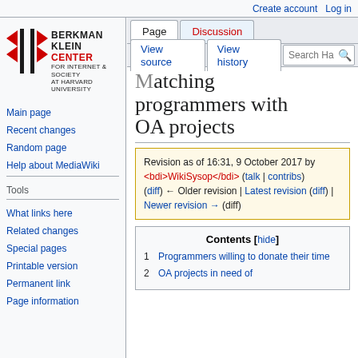Create account  Log in
[Figure (logo): Berkman Klein Center for Internet & Society at Harvard University logo with chevron arrows]
Main page
Recent changes
Random page
Help about MediaWiki
Tools
What links here
Related changes
Special pages
Printable version
Permanent link
Page information
Matching programmers with OA projects
Revision as of 16:31, 9 October 2017 by <bdi>WikiSysop</bdi> (talk | contribs)
(diff) ← Older revision | Latest revision (diff) | Newer revision → (diff)
Contents [hide]
1 Programmers willing to donate their time
2 OA projects in need of